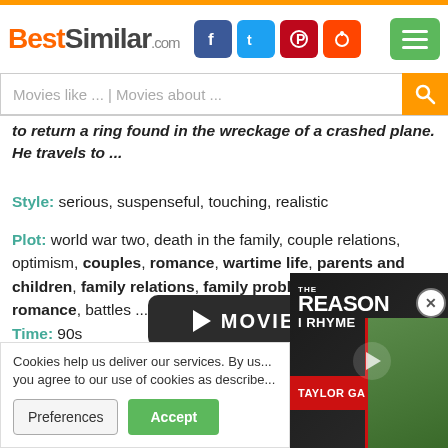BestSimilar.com
to return a ring found in the wreckage of a crashed plane. He travels to ...
Style: serious, suspenseful, touching, realistic
Plot: world war two, death in the family, couple relations, optimism, couples, romance, wartime life, parents and children, family relations, family problems, love and romance, battles ...
Time: 90s
Place: europe, ireland, belfast
[Figure (screenshot): Movie play button with dark rounded rectangle background showing play triangle, MOVIE text, and second play triangle]
# similar
Cookies help us deliver our services. By us... you agree to our use of cookies as describe...
[Figure (photo): Advertisement panel for Taylor Gang music showing THE REASON I RHYME text in red and white with artist photo on dark background]